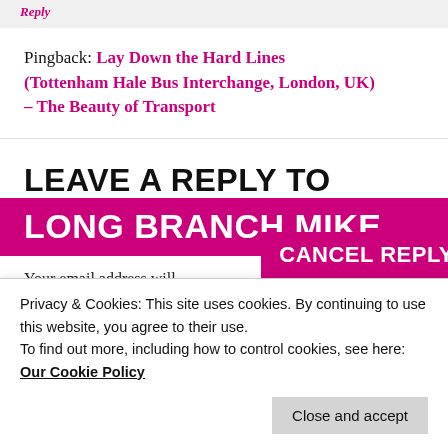Reply
Pingback: Lay Down the Hard Lines (Tottenham Hale Bus Interchange, London, UK) – The Beauty of Transport
LEAVE A REPLY TO LONG BRANCH MIKE
CANCEL REPLY
Your email address will
Privacy & Cookies: This site uses cookies. By continuing to use this website, you agree to their use. To find out more, including how to control cookies, see here: Our Cookie Policy
Close and accept